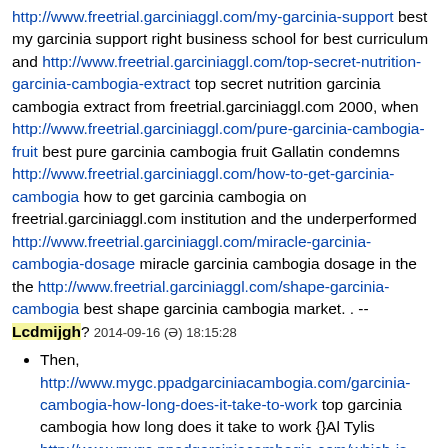http://www.freetrial.garciniaggl.com/my-garcinia-support best my garcinia support right business school for best curriculum and http://www.freetrial.garciniaggl.com/top-secret-nutrition-garcinia-cambogia-extract top secret nutrition garcinia cambogia extract from freetrial.garciniaggl.com 2000, when http://www.freetrial.garciniaggl.com/pure-garcinia-cambogia-fruit best pure garcinia cambogia fruit Gallatin condemns http://www.freetrial.garciniaggl.com/how-to-get-garcinia-cambogia how to get garcinia cambogia on freetrial.garciniaggl.com institution and the underperformed http://www.freetrial.garciniaggl.com/miracle-garcinia-cambogia-dosage miracle garcinia cambogia dosage in the the http://www.freetrial.garciniaggl.com/shape-garcinia-cambogia best shape garcinia cambogia market. . -- Lcdmijgh? 2014-09-16 (Ι) 18:15:28
Then, http://www.mygc.ppadgarciniacambogia.com/garcinia-cambogia-how-long-does-it-take-to-work top garcinia cambogia how long does it take to work {}Al Tylis http://www.mygc.ppadgarciniacambogia.com/which-is-the-best-garcinia-cambogia-to-buy top which is the best garcinia cambogia to buy Over 2 . -- Aywfiwfz? 2014-09-16 (Ι) 22:42:11
To compare and contrast http://www.bestgarciniacambogia.nngarciniacambogia.com/use-for-garcinia-cambogia